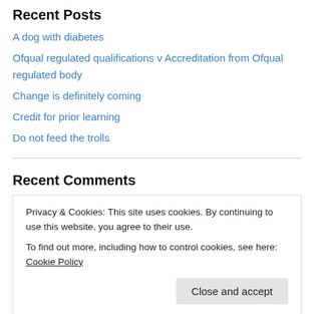Recent Posts
A dog with diabetes
Ofqual regulated qualifications v Accreditation from Ofqual regulated body
Change is definitely coming
Credit for prior learning
Do not feed the trolls
Recent Comments
majorm2003 on The political will for regulat…
Privacy & Cookies: This site uses cookies. By continuing to use this website, you agree to their use.
To find out more, including how to control cookies, see here: Cookie Policy
Close and accept
majorm2003 on The political will for regulat…